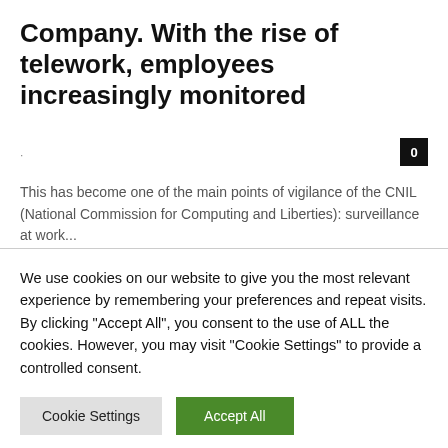Company. With the rise of telework, employees increasingly monitored
This has become one of the main points of vigilance of the CNIL (National Commission for Computing and Liberties): surveillance at work...
We use cookies on our website to give you the most relevant experience by remembering your preferences and repeat visits. By clicking "Accept All", you consent to the use of ALL the cookies. However, you may visit "Cookie Settings" to provide a controlled consent.